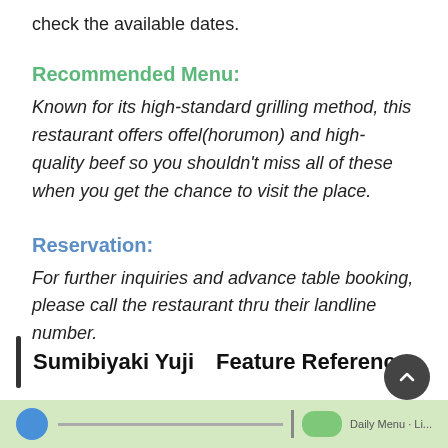check the available dates.
Recommended Menu:
Known for its high-standard grilling method, this restaurant offers offel(horumon) and high-quality beef so you shouldn't miss all of these when you get the chance to visit the place.
Reservation:
For further inquiries and advance table booking, please call the restaurant thru their landline number.
Sumibiyaki Yuji Feature Reference
[Figure (map): Bottom strip showing a Google Maps snippet with blue location dot, road lines, and green area label partially visible.]